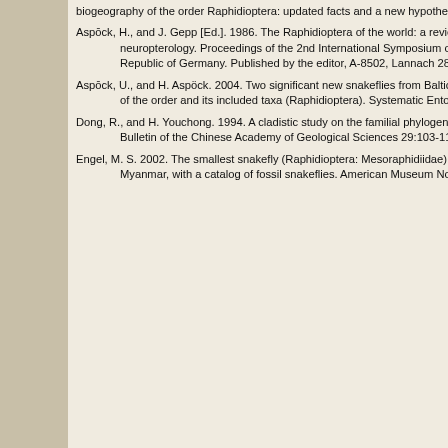biogeography of the order Raphidioptera: updated facts and a new hypothesis. Acta Zoologica Fennica 209:33-44.
Aspöck, H., and J. Gepp [Ed.]. 1986. The Raphidioptera of the world: a review of present knowledge. Recent Research in neuropterology. Proceedings of the 2nd International Symposium on neuropterology in Hamburg, Federal Republic of Germany. Published by the editor, A-8502, Lannach 281, Austria. 1-176. Chapter pagination: 15-29.
Aspöck, U., and H. Aspöck. 2004. Two significant new snakeflies from Baltic amber, with discussion on autapomorphies of the order and its included taxa (Raphidioptera). Systematic Entomology 29(1):11-19.
Dong, R., and H. Youchong. 1994. A cladistic study on the familial phylogeny of fossil and living Raphidioptera (Insecta). Bulletin of the Chinese Academy of Geological Sciences 29:103-117.
Engel, M. S. 2002. The smallest snakefly (Raphidioptera: Mesoraphidiidae): A new species in Cretaceous amber from Myanmar, with a catalog of fossil snakeflies. American Museum Novitates 3363:1-22.